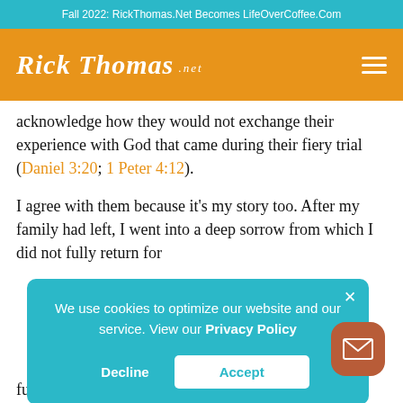Fall 2022: RickThomas.Net Becomes LifeOverCoffee.Com
[Figure (logo): Rick Thomas .net logo in white italic script on orange background with hamburger menu icon]
acknowledge how they would not exchange their experience with God that came during their fiery trial (Daniel 3:20; 1 Peter 4:12).
I agree with them because it's my story too. After my family had left, I went into a deep sorrow from which I did not fully return for
We use cookies to optimize our website and our service. View our Privacy Policy
Decline
Accept
future, I could see nothing hope-filled. It was